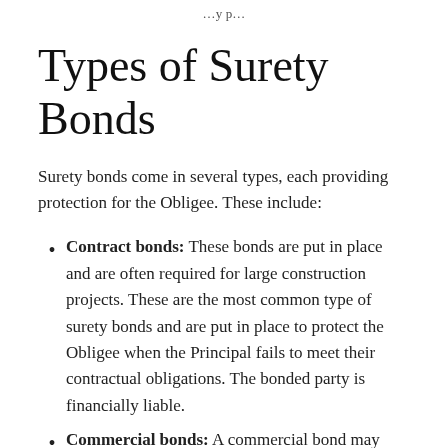…y p…
Types of Surety Bonds
Surety bonds come in several types, each providing protection for the Obligee. These include:
Contract bonds: These bonds are put in place and are often required for large construction projects. These are the most common type of surety bonds and are put in place to protect the Obligee when the Principal fails to meet their contractual obligations. The bonded party is financially liable.
Commercial bonds: A commercial bond may